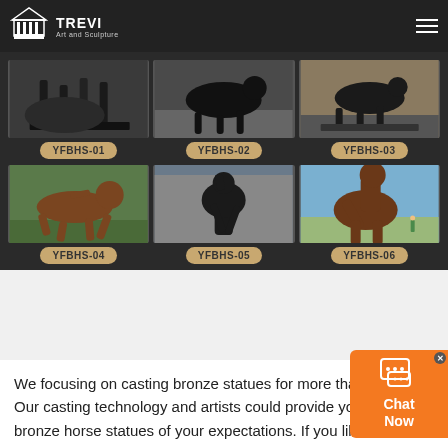TREVI Art and Sculpture
[Figure (photo): Grid of 6 bronze horse sculptures: YFBHS-01 (close-up legs on dark base), YFBHS-02 (black horse trotting outdoors), YFBHS-03 (dark horse on rectangular base), YFBHS-04 (brown horse galloping on grass), YFBHS-05 (dark horse rearing near building), YFBHS-06 (large brown rearing horse outdoors with person for scale)]
We focusing on casting bronze statues for more than 39 years. Our casting technology and artists could provide you with the bronze horse statues of your expectations. If you like our statues, please feel free to